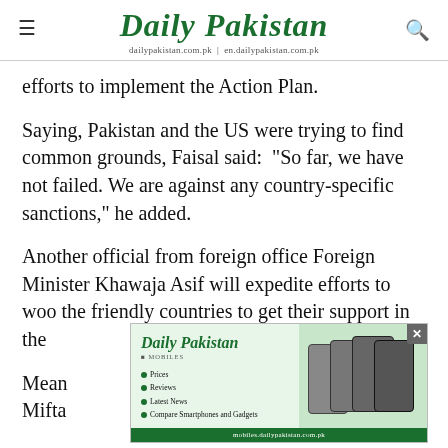Daily Pakistan | dailypakistan.com.pk | en.dailypakistan.com.pk
efforts to implement the Action Plan.
Saying, Pakistan and the US were trying to find common grounds, Faisal said: “So far, we have not failed. We are against any country-specific sanctions,” he added.
Another official from foreign office Foreign Minister Khawaja Asif will expedite efforts to woo the friendly countries to get their support in the
[Figure (screenshot): Daily Pakistan Mobiles advertisement banner with logo, bullet points (Prices, Reviews, Latest News, Compare Smartphones and Gadgets), phone images, and footer URL mobiles.dailypakistan.com.pk]
Mean                                                                                                   iance Mifta                                                                                                 ose